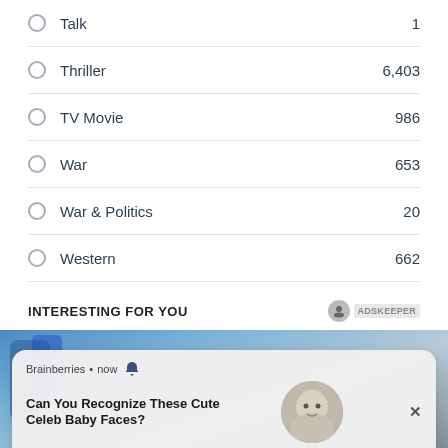Talk — 1
Thriller — 6,403
TV Movie — 986
War — 653
War & Politics — 20
Western — 662
INTERESTING FOR YOU
[Figure (screenshot): Advertisement notification card from Brainberries showing 'Can You Recognize These Cute Celeb Baby Faces?' with a baby photo, bell icon, and 334 likes, overlaid on a photo background.]